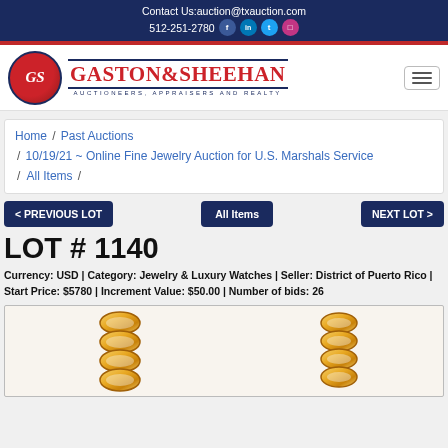Contact Us:auction@txauction.com  512-251-2780
[Figure (logo): Gaston & Sheehan Auctioneers, Appraisers and Realty logo with GS emblem]
Home / Past Auctions / 10/19/21 ~ Online Fine Jewelry Auction for U.S. Marshals Service / All Items /
< PREVIOUS LOT   All Items   NEXT LOT >
LOT # 1140
Currency: USD | Category: Jewelry & Luxury Watches | Seller: District of Puerto Rico | Start Price: $5780 | Increment Value: $50.00 | Number of bids: 26
[Figure (photo): Two gold chain necklaces on white/beige background]